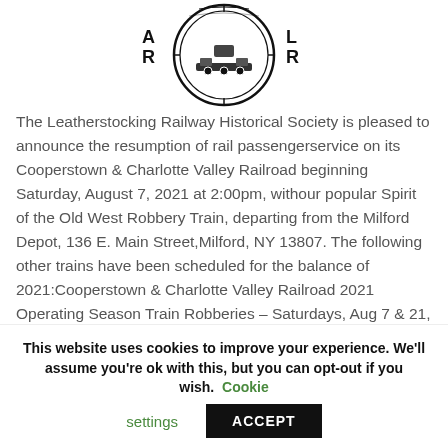[Figure (logo): Circular railway logo with train engine in center, letters AR on left and LR on right, decorative border]
The Leatherstocking Railway Historical Society is pleased to announce the resumption of rail passengerservice on its Cooperstown & Charlotte Valley Railroad beginning Saturday, August 7, 2021 at 2:00pm, withour popular Spirit of the Old West Robbery Train, departing from the Milford Depot, 136 E. Main Street,Milford, NY 13807. The following other trains have been scheduled for the balance of 2021:Cooperstown & Charlotte Valley Railroad 2021 Operating Season Train Robberies – Saturdays, Aug 7 & 21,
This website uses cookies to improve your experience. We'll assume you're ok with this, but you can opt-out if you wish. Cookie settings ACCEPT